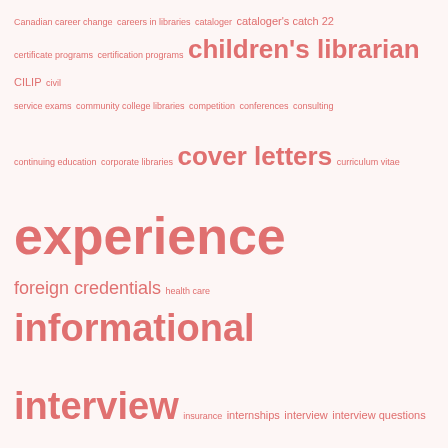[Figure (infographic): A tag cloud / word cloud related to library careers and job searching. Terms appear in varying font sizes (indicating frequency/importance) in shades of salmon/coral pink on a light pink background. Terms include: Canadian career change, careers in libraries, cataloger, catch 22, certificate programs, certification programs, children's librarian, CILIP, civil service exams, community college libraries, competition, conferences, consulting, continuing education, corporate libraries, cover letters, curriculum vitae, experience, foreign credentials, health care, informational interview, insurance, internships, interview, interview questions, interviews, job hopping, job search, job stress, library jobs, library media specialist, library school programs, library trainee, MLS degree, moving, Ph.D., PhD, pigeonhole, preparing for interviews, promotion, public libraries, relocating, resume gaps, school librarian, school libraries, second masters, special libraries, starting again, staying current, teaching, technical services, tenure, transferable experience, transferable skills, volunteer, working from home, working while in school.]